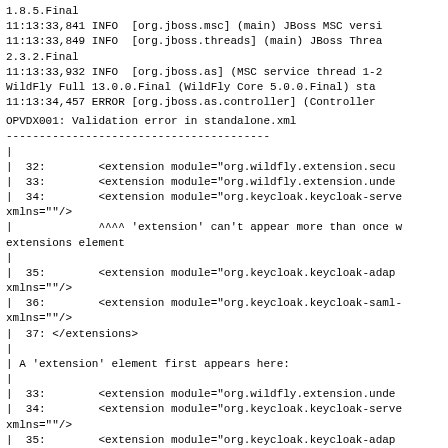1.8.5.Final
11:13:33,841 INFO  [org.jboss.msc] (main) JBoss MSC versi
11:13:33,849 INFO  [org.jboss.threads] (main) JBoss Threa
2.3.2.Final
11:13:33,932 INFO  [org.jboss.as] (MSC service thread 1-2
WildFly Full 13.0.0.Final (WildFly Core 5.0.0.Final) sta
11:13:34,457 ERROR [org.jboss.as.controller] (Controller
OPVDX001: Validation error in standalone.xml
----------------------------------------
|
|  32:        <extension module="org.wildfly.extension.secu
|  33:        <extension module="org.wildfly.extension.unde
|  34:        <extension module="org.keycloak.keycloak-serve
xmlns=""/>
|             ^^^^ 'extension' can't appear more than once w
extensions element
|
|  35:        <extension module="org.keycloak.keycloak-adap
xmlns=""/>
|  36:        <extension module="org.keycloak.keycloak-saml-
xmlns=""/>
|  37: </extensions>
|
| A 'extension' element first appears here:
|
|  33:        <extension module="org.wildfly.extension.unde
|  34:        <extension module="org.keycloak.keycloak-serve
xmlns=""/>
|  35:        <extension module="org.keycloak.keycloak-adap